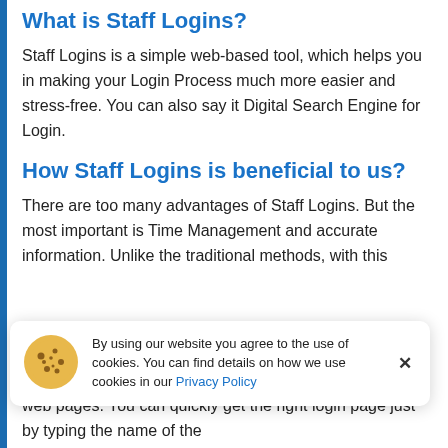What is Staff Logins?
Staff Logins is a simple web-based tool, which helps you in making your Login Process much more easier and stress-free. You can also say it Digital Search Engine for Login.
How Staff Logins is beneficial to us?
There are too many advantages of Staff Logins. But the most important is Time Management and accurate information. Unlike the traditional methods, with this
By using our website you agree to the use of cookies. You can find details on how we use cookies in our Privacy Policy
web pages. You can quickly get the right login page just by typing the name of the